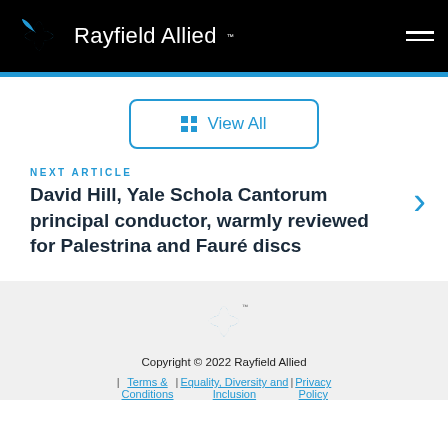Rayfield Allied
View All
NEXT ARTICLE
David Hill, Yale Schola Cantorum principal conductor, warmly reviewed for Palestrina and Fauré discs
[Figure (logo): Rayfield Allied logo in footer]
Copyright © 2022 Rayfield Allied | Terms & Conditions | Equality, Diversity and Inclusion | Privacy Policy